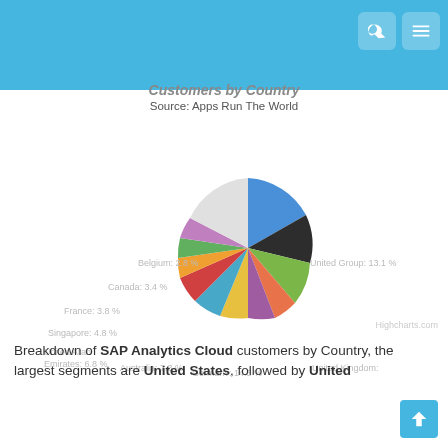Customers by Country
Source: Apps Run The World
[Figure (pie-chart): Pie chart showing SAP Analytics Cloud customers by country. Visible labels: Belgium 2.8%, Canada 3.4%, France 3.8%, Singapore 4.8%, United Arab Emirates 6.8%, Australia 7.3%, Germany 14.5%, United Kingdom 14.0%, United Group 13.1%]
Breakdown of SAP Analytics Cloud customers by Country, the largest segments are United States, followed by United